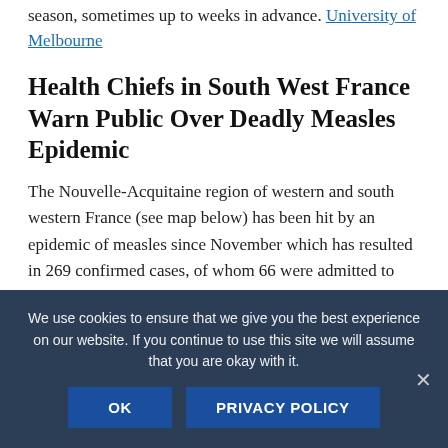season, sometimes up to weeks in advance. University of Melbourne
Health Chiefs in South West France Warn Public Over Deadly Measles Epidemic
The Nouvelle-Acquitaine region of western and south western France (see map below) has been hit by an epidemic of measles since November which has resulted in 269 confirmed cases, of whom 66 were admitted to hospital for treatment. Around one quarter of those admitted to hospital were treated in intensive care. The Local
We use cookies to ensure that we give you the best experience on our website. If you continue to use this site we will assume that you are okay with it.